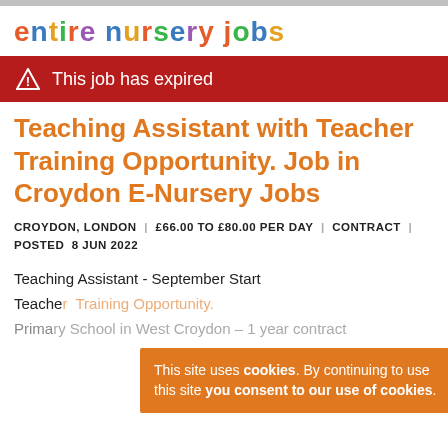entire nursery jobs
This job has expired
Teaching Assistant with Teacher Training Opportunity. Job in Croydon E-Nursery Jobs
CROYDON, LONDON | £66.00 TO £80.00 PER DAY | CONTRACT | POSTED 8 JUN 2022
Teaching Assistant - September Start
Teache
This site uses cookies. By continuing to use this site you consent to our use of cookies.
Primary School in West Croydon – 1 year contract